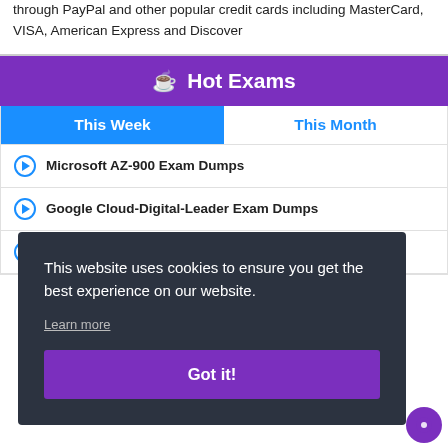through PayPal and other popular credit cards including MasterCard, VISA, American Express and Discover
☕ Hot Exams
This Week | This Month
Microsoft AZ-900 Exam Dumps
Google Cloud-Digital-Leader Exam Dumps
SAFe SAFe-Agilist-5.1 Exam Dumps
This website uses cookies to ensure you get the best experience on our website.
Learn more
Got it!